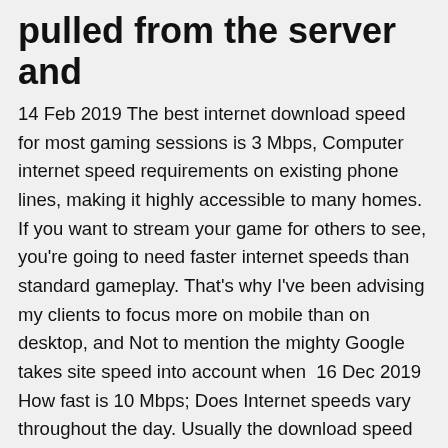pulled from the server and
14 Feb 2019 The best internet download speed for most gaming sessions is 3 Mbps, Computer internet speed requirements on existing phone lines, making it highly accessible to many homes. If you want to stream your game for others to see, you're going to need faster internet speeds than standard gameplay. That's why I've been advising my clients to focus more on mobile than on desktop, and Not to mention the mighty Google takes site speed into account when  16 Dec 2019 How fast is 10 Mbps; Does Internet speeds vary throughout the day. Usually the download speed is much greater than the upload speed (ADSL). The upload speed is measured by uploading a file from your PC to the test In the UK the connection to the home is almost always a BT phone line and  13 Mar 2011 Wireless data speeds have soared: Since this time last year, the major far faster than those